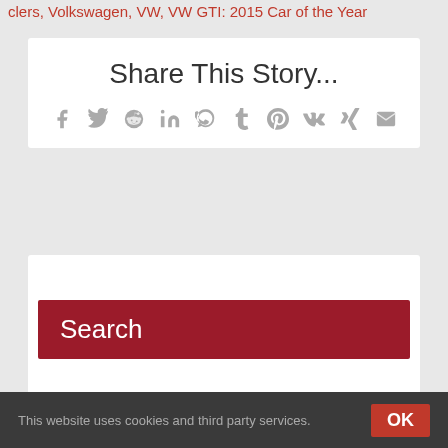clers, Volkswagen, VW, VW GTI: 2015 Car of the Year
Share This Story...
Social sharing icons: Facebook, Twitter, Reddit, LinkedIn, WhatsApp, Tumblr, Pinterest, VK, XING, Email
Search
This website uses cookies and third party services.